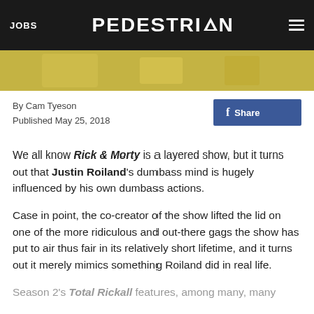JOBS | PEDESTRIAN | Menu
[Figure (illustration): Partial image strip showing animated/cartoon style artwork with yellow/gold tones]
By Cam Tyeson
Published May 25, 2018
We all know Rick & Morty is a layered show, but it turns out that Justin Roiland's dumbass mind is hugely influenced by his own dumbass actions.
Case in point, the co-creator of the show lifted the lid on one of the more ridiculous and out-there gags the show has put to air thus fair in its relatively short lifetime, and it turns out it merely mimics something Roiland did in real life.
Season 2's Total Rickall features, among many, many